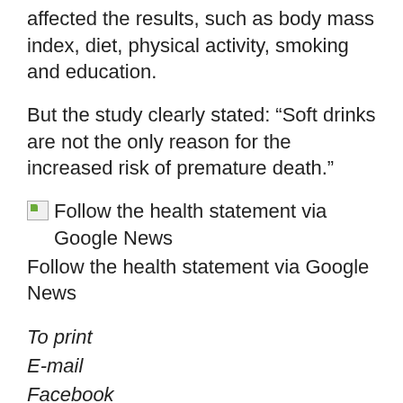affected the results, such as body mass index, diet, physical activity, smoking and education.
But the study clearly stated: “Soft drinks are not the only reason for the increased risk of premature death.”
[Figure (other): Broken image icon followed by text: Follow the health statement via Google News]
Follow the health statement via Google News
To print
E-mail
Facebook
Twitter
LinkedIn